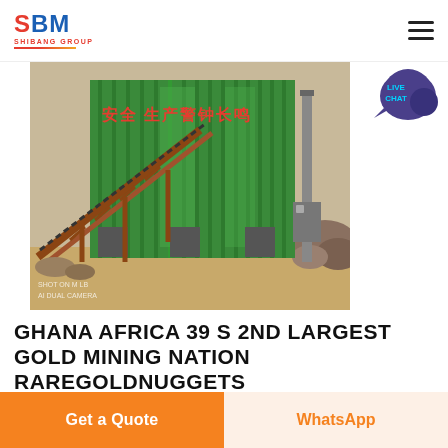SBM SHIBANG GROUP — navigation header with logo and hamburger menu
[Figure (photo): Industrial mining plant facility with green corrugated metal building structure, Chinese characters on facade reading '安全 生产警钟长鸣', a rust-colored conveyor belt structure angled diagonally, a tall exhaust chimney on the right, rocky terrain and sandy ground. Watermark text: 'SHOT ON M LB AI DUAL CAMERA']
GHANA AFRICA 39 S 2ND LARGEST GOLD MINING NATION RAREGOLDNUGGETS
Get a Quote
WhatsApp